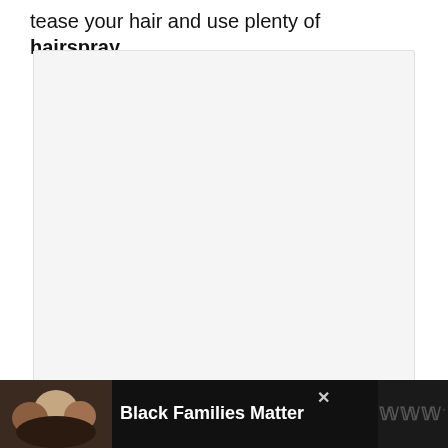tease your hair and use plenty of hairspray.
[Figure (photo): Large empty light-grey placeholder image box]
1.8K
[Figure (other): Social media UI: heart/like button (pink circle with heart icon) and share button]
[Figure (photo): Advertisement banner at bottom: Black Families Matter, showing photo of smiling family on dark background with W logo]